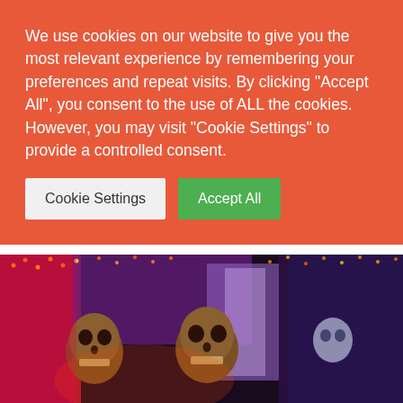We use cookies on our website to give you the most relevant experience by remembering your preferences and repeat visits. By clicking “Accept All”, you consent to the use of ALL the cookies. However, you may visit "Cookie Settings" to provide a controlled consent.
Cookie Settings | Accept All
[Figure (other): Three carousel indicator dots, first one dark/active, second and third light/inactive]
[Figure (photo): Halloween-themed photo showing multiple skeleton decorations with red, pink, purple and orange lighting in a decorated room]